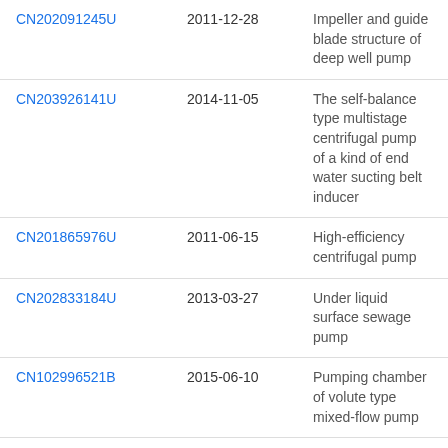| CN202091245U | 2011-12-28 | Impeller and guide blade structure of deep well pump |
| CN203926141U | 2014-11-05 | The self-balance type multistage centrifugal pump of a kind of end water sucting belt inducer |
| CN201865976U | 2011-06-15 | High-efficiency centrifugal pump |
| CN202833184U | 2013-03-27 | Under liquid surface sewage pump |
| CN102996521B | 2015-06-10 | Pumping chamber of volute type mixed-flow pump |
| CN103511346A | 2014-01-15 | High-efficiency constant-pressure tangent fire pump |
| CN203348093U | 2013-12-18 | Low-cavitation dual-barrel first stage double-suction radiation charge pump |
| CN202991655U | 2013-06-12 | Vertical submerged... |